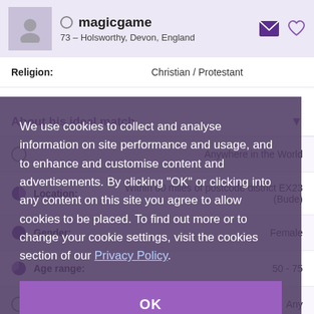magicgame
73 – Holsworthy, Devon, England
Religion:	Christian / Protestant
About his ideal match
Location:	Within 60 miles of postcode district EX23 (Bude)
Gender:	Female
Age range:	50 - 75
Star sign:	Any
We use cookies to collect and analyse information on site performance and usage, and to enhance and customise content and advertisements. By clicking "OK" or clicking into any content on this site you agree to allow cookies to be placed. To find out more or to change your cookie settings, visit the cookies section of our Privacy Policy.